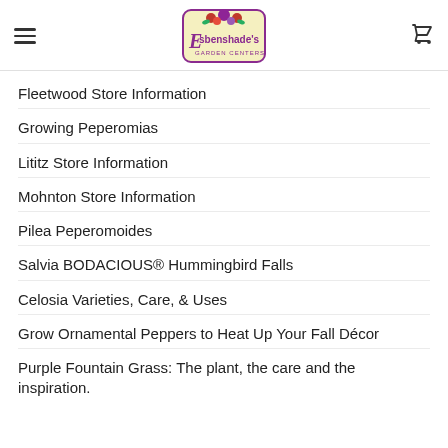Esbenshade's Garden Centers
Fleetwood Store Information
Growing Peperomias
Lititz Store Information
Mohnton Store Information
Pilea Peperomoides
Salvia BODACIOUS® Hummingbird Falls
Celosia Varieties, Care, & Uses
Grow Ornamental Peppers to Heat Up Your Fall Décor
Purple Fountain Grass: The plant, the care and the inspiration.